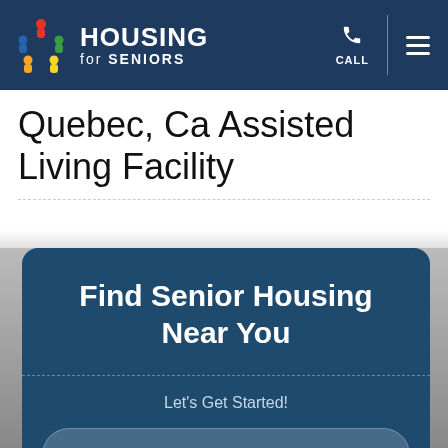[Figure (logo): Housing for Seniors logo with colorful people icon and navigation bar including phone/call icon and hamburger menu]
Quebec, Ca Assisted Living Facility
Find Senior Housing Near You
Let's Get Started!
Enter Zip or Postal Code